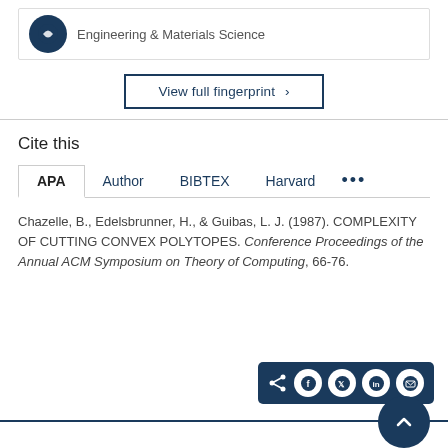Engineering & Materials Science
View full fingerprint >
Cite this
APA  Author  BIBTEX  Harvard  ...
Chazelle, B., Edelsbrunner, H., & Guibas, L. J. (1987). COMPLEXITY OF CUTTING CONVEX POLYTOPES. Conference Proceedings of the Annual ACM Symposium on Theory of Computing, 66-76.